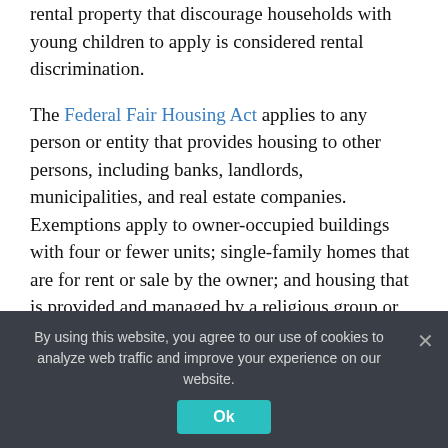rental property that discourage households with young children to apply is considered rental discrimination.
The Federal Fair Housing Act applies to any person or entity that provides housing to other persons, including banks, landlords, municipalities, and real estate companies. Exemptions apply to owner-occupied buildings with four or fewer units; single-family homes that are for rent or sale by the owner; and housing that is provided and managed by a religious group or private club.
The...
By using this website, you agree to our use of cookies to analyze web traffic and improve your experience on our website.